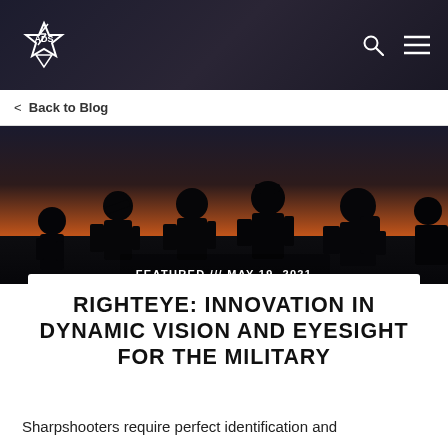ADS (logo)
< Back to Blog
[Figure (photo): Silhouettes of five soldiers with military helmets and gear against a dramatic orange and dark sky at dusk/dawn]
FEATURED /// MAY 19, 2021
RIGHTEYE: INNOVATION IN DYNAMIC VISION AND EYESIGHT FOR THE MILITARY
Sharpshooters require perfect identification and